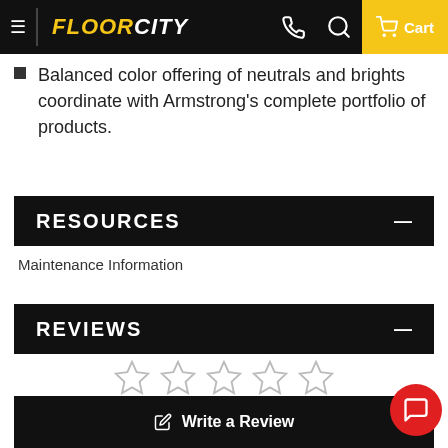FLOORCITY — Cart
Balanced color offering of neutrals and brights coordinate with Armstrong's complete portfolio of products.
RESOURCES
Maintenance Information
REVIEWS
[Figure (other): Five empty star rating icons in a row (no rating selected)]
Write a Review